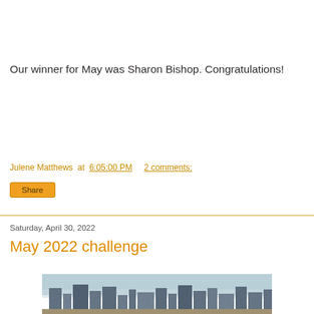Our winner for May was Sharon Bishop. Congratulations!
Julene Matthews at 6:05:00 PM    2 comments:
Share
Saturday, April 30, 2022
May 2022 challenge
[Figure (photo): Partial view of a city skyline photograph, cropped at the bottom of the page]